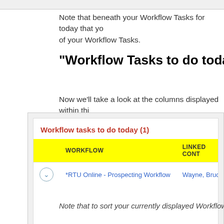Note that beneath your Workflow Tasks for today that yo... of your Workflow Tasks.
"Workflow Tasks to do today" Colu
Now we'll take a look at the columns displayed within thi
[Figure (screenshot): Screenshot of a CRM widget titled 'Workflow tasks to do today (1)' showing a table with columns WORKFLOW and LINKED CONT, with one row showing '*RTU Online - Prospecting Workflow' and 'Wayne, Bruc' and a footer link 'View all my workflow tasks...']
Note that to sort your currently displayed Workflow Tasks